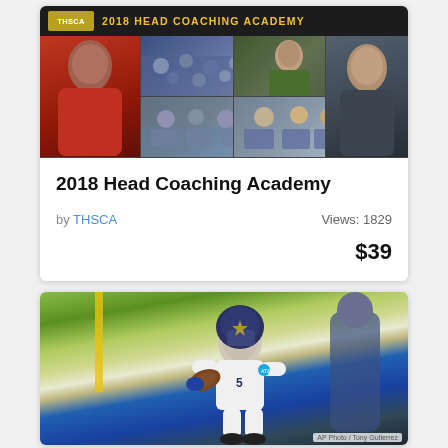[Figure (photo): Card for 2018 Head Coaching Academy product with THSCA banner, photo grid of coaching sessions, title, author, views, and price]
2018 Head Coaching Academy
by THSCA    Views: 1829
$39
[Figure (photo): Football player in white Cowboys uniform carrying ball at practice, AP Photo/Tony Gutierrez credit]